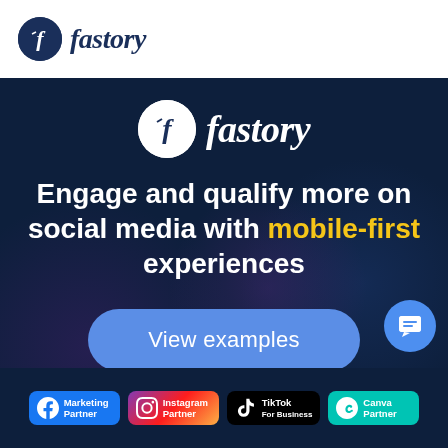[Figure (logo): Fastory logo in white header bar — circular dark navy icon with stylized 'f' and cursive 'fastory' wordmark]
[Figure (logo): Fastory logo centered on dark navy background — white circle with stylized 'f' icon and white cursive 'fastory' wordmark]
Engage and qualify more on social media with mobile-first experiences
View examples
[Figure (infographic): Bottom partner badges: Facebook Marketing Partner, Instagram Partner, TikTok For Business, Canva Partner. Blue chat bubble icon at bottom-right.]